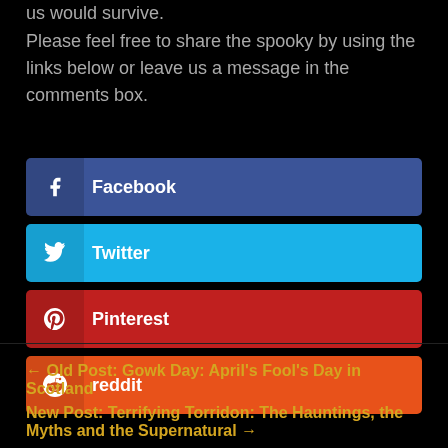us would survive.
Please feel free to share the spooky by using the links below or leave us a message in the comments box.
Facebook
Twitter
Pinterest
reddit
← Old Post: Gowk Day: April's Fool's Day in Scotland
New Post: Terrifying Torridon: The Hauntings, the Myths and the Supernatural →